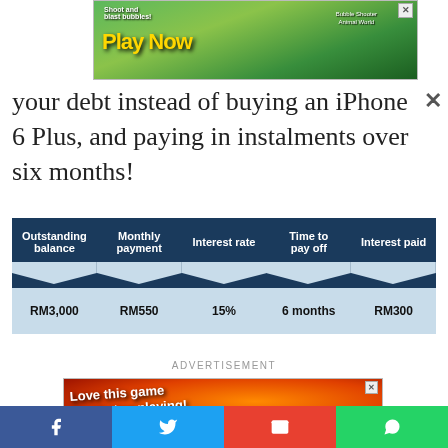[Figure (screenshot): Top green game advertisement banner with 'Play Now' text and bubble shooter game imagery]
your debt instead of buying an iPhone 6 Plus, and paying in instalments over six months!
| Outstanding balance | Monthly payment | Interest rate | Time to pay off | Interest paid |
| --- | --- | --- | --- | --- |
| RM3,000 | RM550 | 15% | 6 months | RM300 |
ADVERTISEMENT
[Figure (screenshot): Red/orange game advertisement with 'Love this game Can't stop playing!' text and Play Now button]
[Figure (screenshot): Social media sharing bar with Facebook, Twitter, Email, and WhatsApp icons]